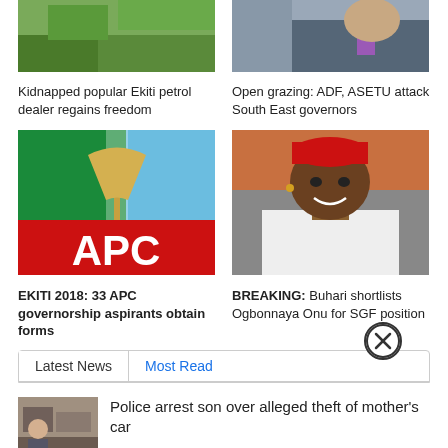[Figure (photo): Photo of greenery/trees top left]
Kidnapped popular Ekiti petrol dealer regains freedom
[Figure (photo): Photo of man in suit with purple tie top right]
Open grazing: ADF, ASETU attack South East governors
[Figure (photo): APC party logo with green, white, blue sections and red bottom with APC text]
EKITI 2018: 33 APC governorship aspirants obtain forms
[Figure (photo): Smiling man wearing red traditional cap and white attire]
BREAKING: Buhari shortlists Ogbonnaya Onu for SGF position
Latest News
Most Read
[Figure (photo): Small thumbnail of news story]
Police arrest son over alleged theft of mother's car
Lorillard: Nigerian government bans the arrest...